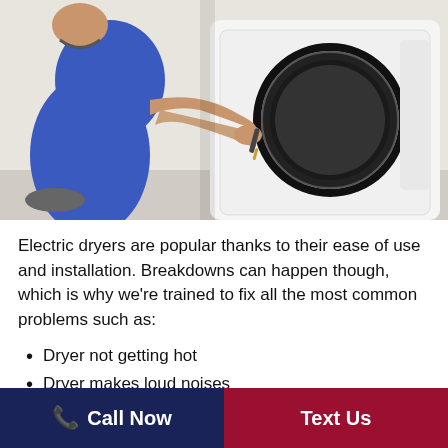[Figure (photo): A technician in blue uniform kneeling and repairing the door seal of a white front-loading washing machine or dryer, using a screwdriver tool.]
Electric dryers are popular thanks to their ease of use and installation. Breakdowns can happen though, which is why we're trained to fix all the most common problems such as:
Dryer not getting hot
Dryer makes loud noises
Dryer controls not working
Call Now   Text Us